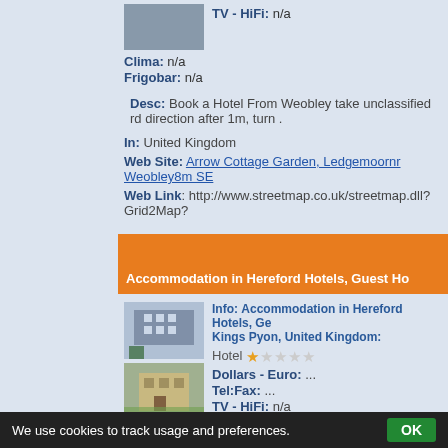[Figure (photo): Small hotel thumbnail photo at top]
TV - HiFi: n/a
Clima: n/a
Frigobar: n/a
Desc: Book a Hotel From Weobley take unclassified rd direction after 1m, turn .
In: United Kingdom
Web Site: Arrow Cottage Garden, Ledgemoornr Weobley8m SE
Web Link: http://www.streetmap.co.uk/streetmap.dll?Grid2Map?
Accommodation in Hereford Hotels, Guest Ho
[Figure (photo): Hotel building photo 1]
[Figure (photo): Hotel building photo 2]
Info: Accommodation in Hereford Hotels, Ge Kings Pyon, United Kingdom:
Hotel  (1 star out of 5)
Dollars - Euro: ...
Tel:Fax: ...
TV - HiFi: n/a
Clima: n/a
We use cookies to track usage and preferences.  OK